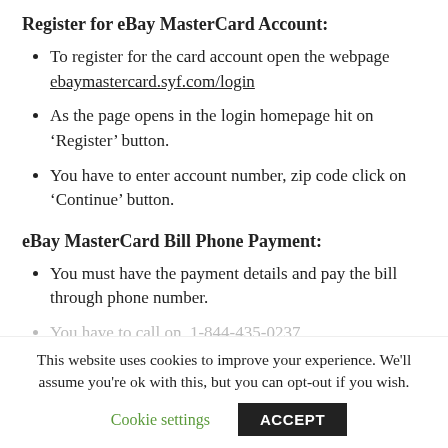Register for eBay MasterCard Account:
To register for the card account open the webpage ebaymastercard.syf.com/login
As the page opens in the login homepage hit on ‘Register’ button.
You have to enter account number, zip code click on ‘Continue’ button.
eBay MasterCard Bill Phone Payment:
You must have the payment details and pay the bill through phone number.
You have to call on, 1-844-435-0237.
This website uses cookies to improve your experience. We’ll assume you’re ok with this, but you can opt-out if you wish.